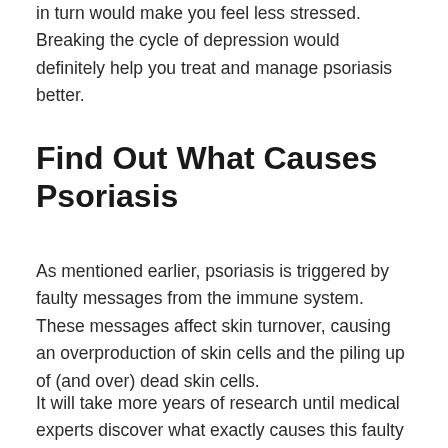in turn would make you feel less stressed. Breaking the cycle of depression would definitely help you treat and manage psoriasis better.
Find Out What Causes Psoriasis
As mentioned earlier, psoriasis is triggered by faulty messages from the immune system. These messages affect skin turnover, causing an overproduction of skin cells and the piling up of (and over) dead skin cells.
It will take more years of research until medical experts discover what exactly causes this faulty messaging from the immune system, but one of